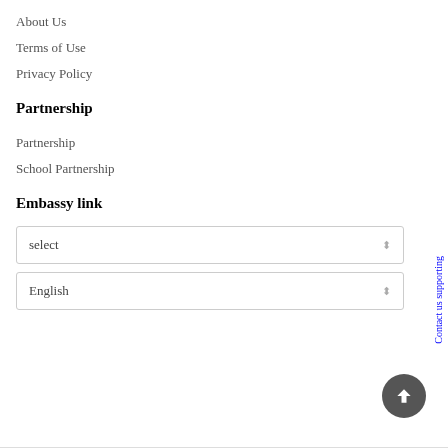About Us
Terms of Use
Privacy Policy
Partnership
Partnership
School Partnership
Embassy link
select
English
Contact us supporting